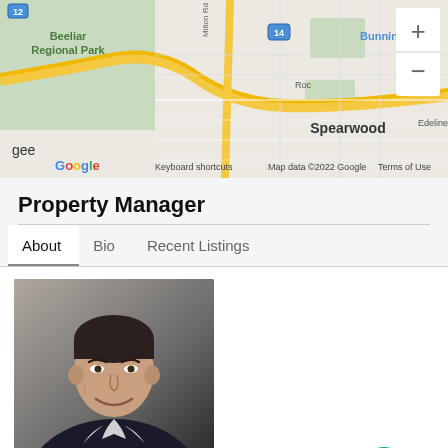[Figure (map): Google Maps screenshot showing Spearwood area with Beeliar Regional Park, Bunnings nearby, road network, zoom controls, and map attribution]
Property Manager
About | Bio | Recent Listings (tabs)
[Figure (photo): Profile photo of Cristian Cortes, a middle-aged man with short dark hair, wearing a dark blazer and white shirt, smiling]
Cristian Cortes